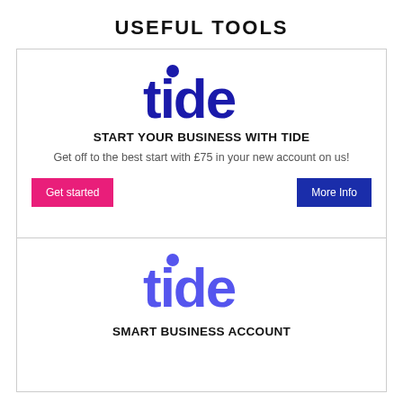USEFUL TOOLS
[Figure (logo): Tide logo in dark navy blue]
START YOUR BUSINESS WITH TIDE
Get off to the best start with £75 in your new account on us!
Get started
More Info
[Figure (logo): Tide logo in medium blue/purple]
SMART BUSINESS ACCOUNT